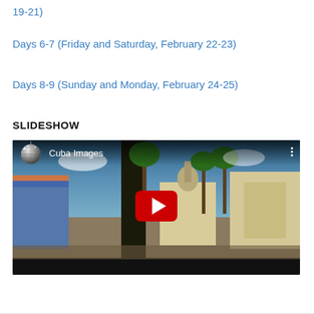19-21)
Days 6-7 (Friday and Saturday, February 22-23)
Days 8-9 (Sunday and Monday, February 24-25)
SLIDESHOW
[Figure (screenshot): YouTube video embed showing 'Cuba Images' with a disco ball thumbnail icon and a panoramic image of a Cuban plaza with palm trees, colonial buildings, and a blue sky. A red YouTube play button is centered on the image.]